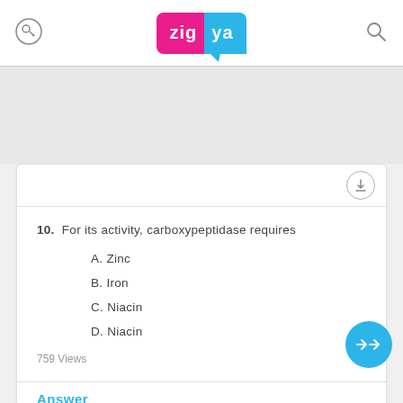[Figure (logo): Zigya logo with pink and blue speech bubble design]
10. For its activity, carboxypeptidase requires
A. Zinc
B. Iron
C. Niacin
D. Niacin
759 Views
Answer